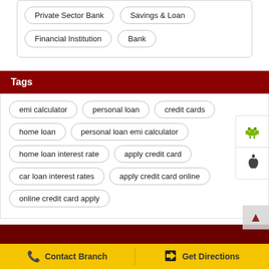Private Sector Bank
Savings & Loan
Financial Institution
Bank
Tags
emi calculator
personal loan
credit cards
home loan
personal loan emi calculator
home loan interest rate
apply credit card
car loan interest rates
apply credit card online
online credit card apply
Contact Branch   Get Directions